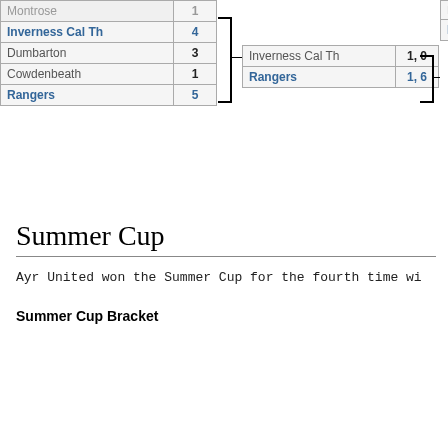| Team | Score |
| --- | --- |
| Inverness Cal Th | 4 |
| Dumbarton | 3 |
| Cowdenbeath | 1 |
| Rangers | 5 |
| Team | Score |
| --- | --- |
| Inverness Cal Th | 1, 0 |
| Rangers | 1, 6 |
| Team |
| --- |
| Livingston/... |
| Rangers |
Summer Cup
Ayr United won the Summer Cup for the fourth time wi
Summer Cup Bracket